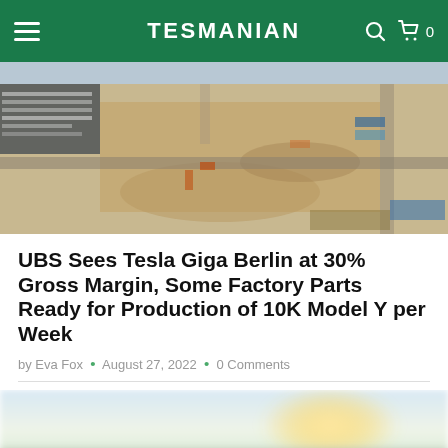TESMANIAN
[Figure (photo): Aerial drone view of Tesla Giga Berlin construction site showing cleared land, parking lots with vehicles, construction equipment, roads, and blue storage containers]
UBS Sees Tesla Giga Berlin at 30% Gross Margin, Some Factory Parts Ready for Production of 10K Model Y per Week
by Eva Fox • August 27, 2022 • 0 Comments
[Figure (photo): Blurred exterior photo of Tesla Gigafactory Berlin with green landscape in foreground and bright sky with sunlight glow in background]